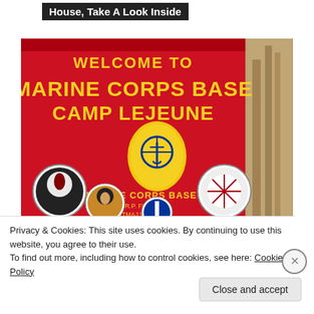House, Take A Look Inside
[Figure (photo): Welcome to Marine Corps Base Camp Lejeune sign — red background with large yellow text reading WELCOME TO MARINE CORPS BASE CAMP LEJEUNE. Center emblem (yellow shield with anchor and globe), surrounded by circular unit patches. Text: MARINE CORPS BASE / COL R.P. FLATAU JR. / SGTMAJ W.C. RICE. Patches include Joint Maritime Training Center (left), Training Commands (right). Trees visible in background (right).]
Privacy & Cookies: This site uses cookies. By continuing to use this website, you agree to their use.
To find out more, including how to control cookies, see here: Cookie Policy